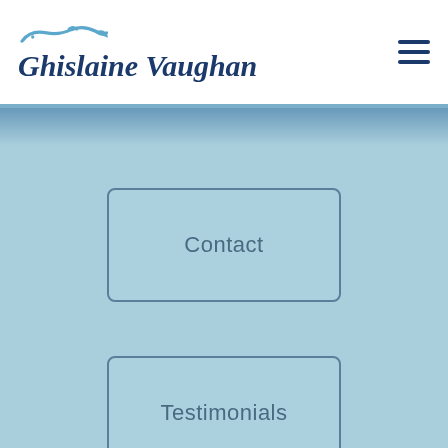Ghislaine Vaughan
[Figure (screenshot): Mobile navigation menu overlay on light blue background with three button links: Contact, Testimonials, Privacy]
Contact
Testimonials
Privacy